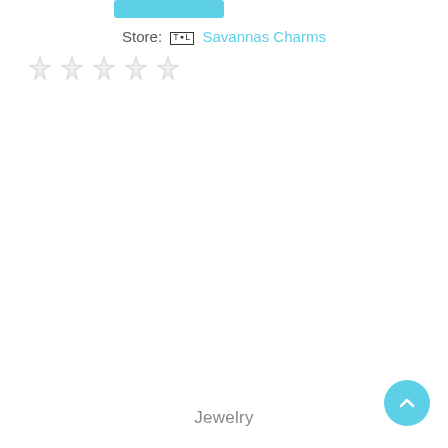[Figure (other): Cyan/light-blue rounded rectangle button bar at top center]
Store: TOL Savannas Charms
[Figure (other): Five empty/unfilled star rating icons in light gray]
Jewelry
[Figure (other): Circular cyan scroll-to-top button with upward chevron arrow, bottom right corner]